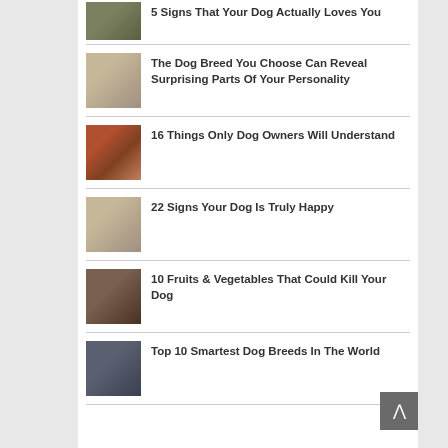5 Signs That Your Dog Actually Loves You
The Dog Breed You Choose Can Reveal Surprising Parts Of Your Personality
16 Things Only Dog Owners Will Understand
22 Signs Your Dog Is Truly Happy
10 Fruits & Vegetables That Could Kill Your Dog
Top 10 Smartest Dog Breeds In The World